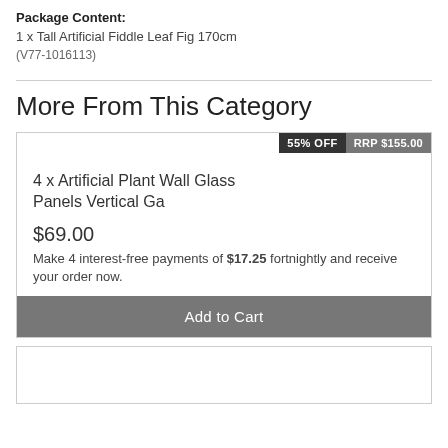Package Content:
1 x Tall Artificial Fiddle Leaf Fig 170cm
(V77-1016113)
More From This Category
55% OFF  RRP $155.00
4 x Artificial Plant Wall Glass Panels Vertical Ga
$69.00
Make 4 interest-free payments of $17.25 fortnightly and receive your order now.
Add to Cart